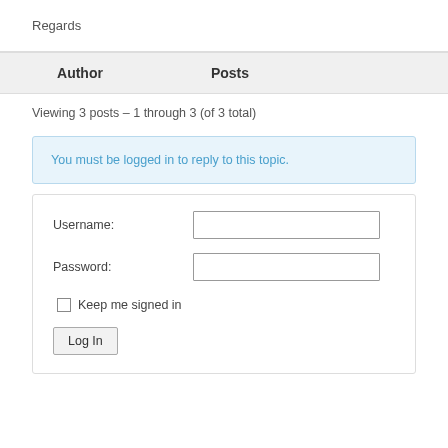Regards
| Author | Posts |
| --- | --- |
Viewing 3 posts – 1 through 3 (of 3 total)
You must be logged in to reply to this topic.
Username:
Password:
Keep me signed in
Log In